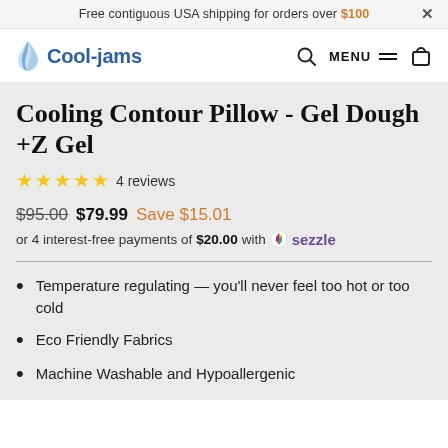Free contiguous USA shipping for orders over $100  ×
[Figure (logo): Cool-jams brand logo with blue droplet/flame icon and blue text 'Cool-jams']
Cooling Contour Pillow - Gel Dough +Z Gel
★★★★★ 4 reviews
$95.00  $79.99  Save $15.01
or 4 interest-free payments of $20.00 with ⬤ sezzle
Temperature regulating — you'll never feel too hot or too cold
Eco Friendly Fabrics
Machine Washable and Hypoallergenic